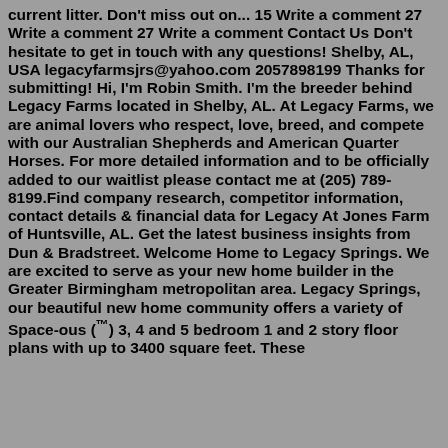current litter. Don't miss out on... 15 Write a comment 27 Write a comment 27 Write a comment Contact Us Don't hesitate to get in touch with any questions! Shelby, AL, USA legacyfarmsjrs@yahoo.com 2057898199 Thanks for submitting! Hi, I'm Robin Smith. I'm the breeder behind Legacy Farms located in Shelby, AL. At Legacy Farms, we are animal lovers who respect, love, breed, and compete with our Australian Shepherds and American Quarter Horses. For more detailed information and to be officially added to our waitlist please contact me at (205) 789-8199.Find company research, competitor information, contact details & financial data for Legacy At Jones Farm of Huntsville, AL. Get the latest business insights from Dun & Bradstreet. Welcome Home to Legacy Springs. We are excited to serve as your new home builder in the Greater Birmingham metropolitan area. Legacy Springs, our beautiful new home community offers a variety of Space-ous (™) 3, 4 and 5 bedroom 1 and 2 story floor plans with up to 3400 square feet. These